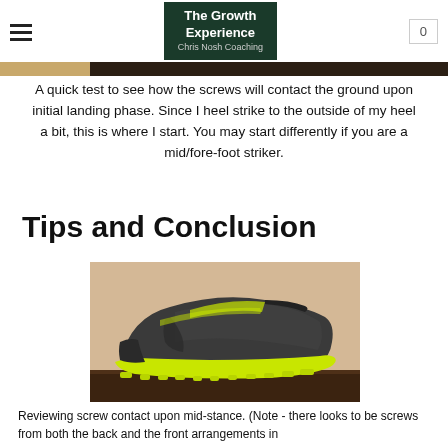The Growth Experience — Chris Nosh Coaching
[Figure (photo): Dark brown wooden surface banner strip]
A quick test to see how the screws will contact the ground upon initial landing phase. Since I heel strike to the outside of my heel a bit, this is where I start. You may start differently if you are a mid/fore-foot striker.
Tips and Conclusion
[Figure (photo): A gray and neon yellow/green trail running shoe (Hoka brand) sitting on a dark wooden surface, photographed from the side showing the large cushioned sole with neon yellow lugs.]
Reviewing screw contact upon mid-stance. (Note - there looks to be screws from both the back and the front arrangements in